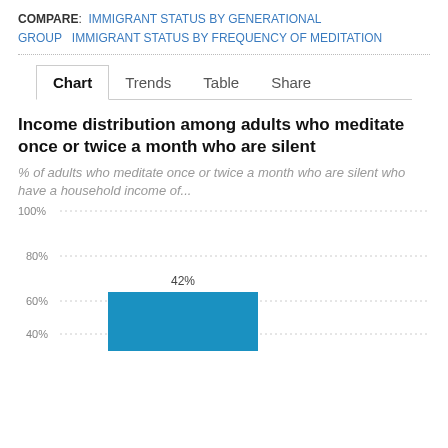COMPARE: IMMIGRANT STATUS BY GENERATIONAL GROUP  IMMIGRANT STATUS BY FREQUENCY OF MEDITATION
Chart  Trends  Table  Share
Income distribution among adults who meditate once or twice a month who are silent
% of adults who meditate once or twice a month who are silent who have a household income of...
[Figure (bar-chart): Income distribution among adults who meditate once or twice a month who are silent]